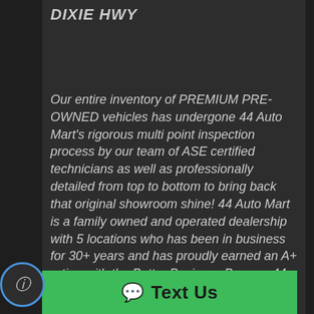DIXIE HWY
Our entire inventory of PREMIUM PRE-OWNED vehicles has undergone 44 Auto Mart's rigorous multi point inspection process by our team of ASE certified technicians as well as professionally detailed from top to bottom to bring back that original showroom shine! 44 Auto Mart is a family owned and operated dealership with 5 locations who has been in business for 30+ years and has proudly earned an A+ rating with the Better Business Bureau. 44 Auto Mart has developed partnerships with the nation's most competitive banks and credit unions to offer top of the line auto financing with low interest rates and many payment options!
Text Us